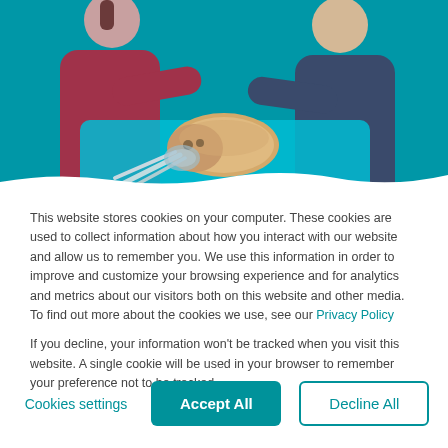[Figure (photo): Two veterinary professionals, one in a pink/burgundy top and one in dark blue scrubs, attending to a fluffy light-brown dog lying on a teal surgical table with medical tubes and equipment, against a teal background.]
This website stores cookies on your computer. These cookies are used to collect information about how you interact with our website and allow us to remember you. We use this information in order to improve and customize your browsing experience and for analytics and metrics about our visitors both on this website and other media. To find out more about the cookies we use, see our Privacy Policy
If you decline, your information won't be tracked when you visit this website. A single cookie will be used in your browser to remember your preference not to be tracked.
Cookies settings
Accept All
Decline All